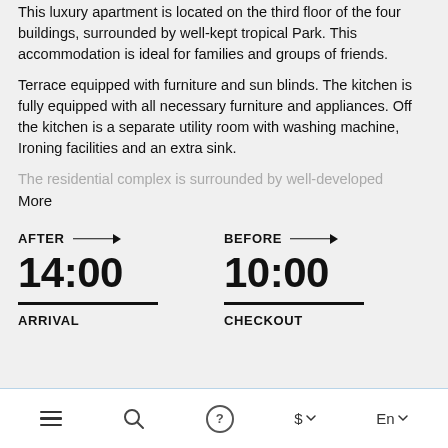This luxury apartment is located on the third floor of the four buildings, surrounded by well-kept tropical Park. This accommodation is ideal for families and groups of friends.
Terrace equipped with furniture and sun blinds. The kitchen is fully equipped with all necessary furniture and appliances. Off the kitchen is a separate utility room with washing machine, Ironing facilities and an extra sink.
The residential complex is surrounded by well-developed
More
AFTER → 14:00 ARRIVAL | BEFORE → 10:00 CHECKOUT
[Figure (screenshot): Bottom navigation bar with hamburger menu, search icon, help icon, dollar currency selector, and language selector (En)]